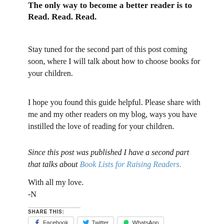The only way to become a better reader is to Read. Read. Read.
Stay tuned for the second part of this post coming soon, where I will talk about how to choose books for your children.
I hope you found this guide helpful. Please share with me and my other readers on my blog, ways you have instilled the love of reading for your children.
Since this post was published I have a second part that talks about Book Lists for Raising Readers.
With all my love.
-N
SHARE THIS:
Facebook  Twitter  WhatsApp  Email  Pinterest